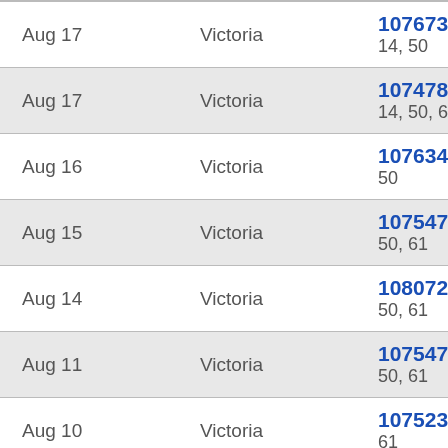| Date | Location | Reference |
| --- | --- | --- |
| Aug 17 | Victoria | 107673
14, 50 |
| Aug 17 | Victoria | 107478
14, 50, 61 |
| Aug 16 | Victoria | 107634
50 |
| Aug 15 | Victoria | 107547
50, 61 |
| Aug 14 | Victoria | 108072
50, 61 |
| Aug 11 | Victoria | 107547
50, 61 |
| Aug 10 | Victoria | 107523
61 |
| Aug 9 | Victoria | 107629
14, 50, 61 |